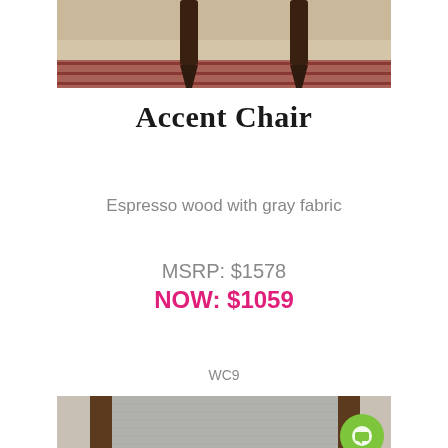[Figure (photo): Partial view of chair legs on a rug and tan floor, product photo cropped at top]
Accent Chair
Espresso wood with gray fabric
MSRP: $1578
NOW: $1059
WC9
[Figure (photo): Accent chair with espresso wood frame and gray fabric upholstery, wingback style, shown in a showroom. A green chat bubble icon is overlaid in the bottom right corner.]